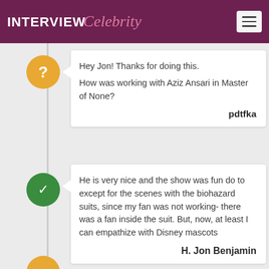INTERVIEW Celebrity
Hey Jon! Thanks for doing this.
How was working with Aziz Ansari in Master of None?
pdtfka
He is very nice and the show was fun do to except for the scenes with the biohazard suits, since my fan was not working- there was a fan inside the suit. But, now, at least I can empathize with Disney mascots
H. Jon Benjamin